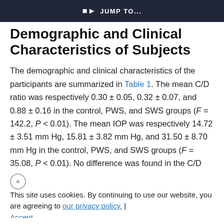JUMP TO...
Demographic and Clinical Characteristics of Subjects
The demographic and clinical characteristics of the participants are summarized in Table 1. The mean C/D ratio was respectively 0.30 ± 0.05, 0.32 ± 0.07, and 0.88 ± 0.16 in the control, PWS, and SWS groups (F = 142.2, P < 0.01). The mean IOP was respectively 14.72 ± 3.51 mm Hg, 15.81 ± 3.82 mm Hg, and 31.50 ± 8.70 mm Hg in the control, PWS, and SWS groups (F = 35.08, P < 0.01). No difference was found in the C/D
ratio and IOP between controls and PWS patients, (faded background text) C/D was on the basis the diagnostic criteria, C/D ratio and IOP were significantly higher in SWS patients than those in the controls (SWS vs. controls
This site uses cookies. By continuing to use our website, you are agreeing to our privacy policy. Accept